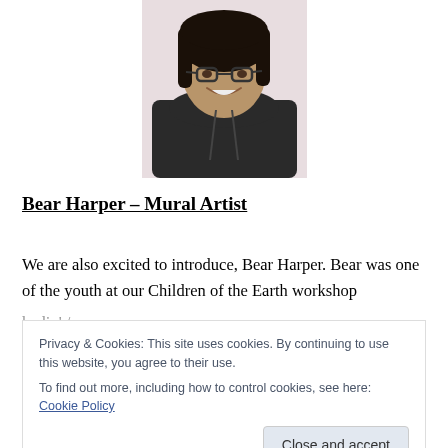[Figure (photo): A smiling person with shoulder-length dark hair and glasses, wearing a dark hoodie, photographed indoors against a light background.]
Bear Harper – Mural Artist
We are also excited to introduce, Bear Harper. Bear was one of the youth at our Children of the Earth workshop
Privacy & Cookies: This site uses cookies. By continuing to use this website, you agree to their use.
To find out more, including how to control cookies, see here: Cookie Policy
Close and accept
sketch from June to be displayed as part of the